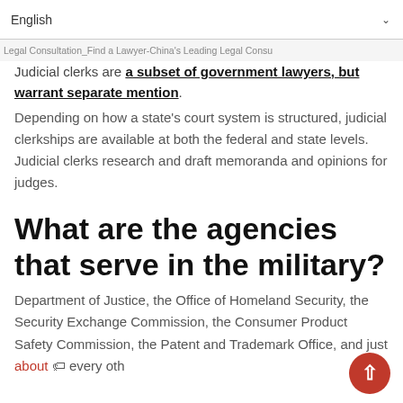English
Legal Consultation_Find a Lawyer-China's Leading Legal Consu
Judicial clerks are a subset of government lawyers, but warrant separate mention. Depending on how a state's court system is structured, judicial clerkships are available at both the federal and state levels. Judicial clerks research and draft memoranda and opinions for judges.
What are the agencies that serve in the military?
Department of Justice, the Office of Homeland Security, the Security Exchange Commission, the Consumer Product Safety Commission, the Patent and Trademark Office, and just about 🏷 every oth…